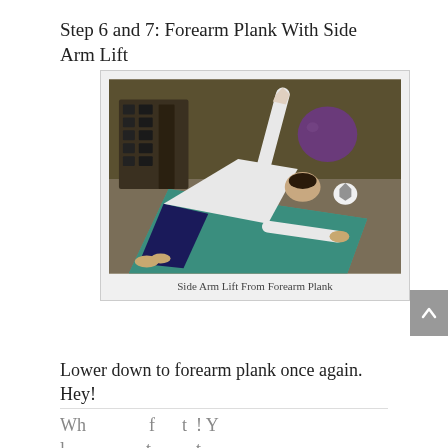Step 6 and 7: Forearm Plank With Side Arm Lift
[Figure (photo): A woman performing a Side Arm Lift From Forearm Plank exercise on a teal yoga mat in a gym. She is in a side plank position with one arm raised vertically and the other extended on the mat. Gym equipment including dumbbell rack and exercise balls are visible in the background.]
Side Arm Lift From Forearm Plank
Lower down to forearm plank once again. Hey!
Where to start! You can actually start anywhere...